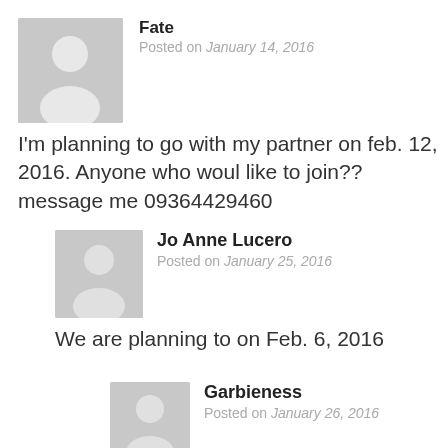Fate
Posted on January 14, 2016
I'm planning to go with my partner on feb. 12, 2016. Anyone who woul like to join?? message me 09364429460
Jo Anne Lucero
Posted on January 25, 2016
We are planning to on Feb. 6, 2016
Garbieness
Posted on January 26, 2016